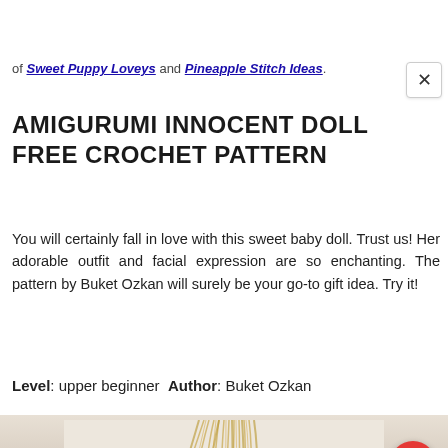of Sweet Puppy Loveys and Pineapple Stitch Ideas.
AMIGURUMI INNOCENT DOLL FREE CROCHET PATTERN
You will certainly fall in love with this sweet baby doll. Trust us! Her adorable outfit and facial expression are so enchanting. The pattern by Buket Ozkan will surely be your go-to gift idea. Try it!
Level: upper beginner  Author: Buket Ozkan
[Figure (photo): Bottom portion of a crochet amigurumi doll showing blonde/wheat-colored hair at the top of the image, with a pink garment visible at the bottom edge, on a light gray/white background.]